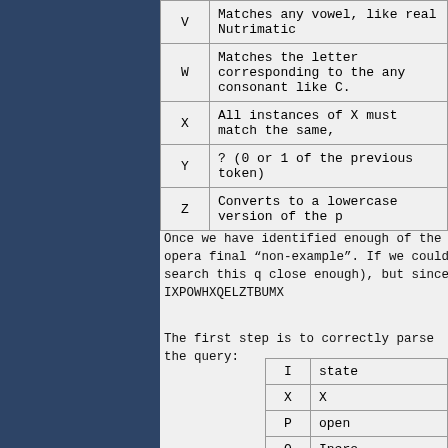| Token | Description |
| --- | --- |
| V | Matches any vowel, like real Nutrimatic |
| W | Matches the letter corresponding to the any consonant like C. |
| X | All instances of X must match the same, |
| Y | ? (0 or 1 of the previous token) |
| Z | Converts to a lowercase version of the p |
Once we have identified enough of the opera final “non-example”. If we could search this q close enough), but since IXPOWHXQELZTBUMX
The first step is to correctly parse the query:
| Token | Description |
| --- | --- |
| I | state |
| X | X |
| P | open |
| O | Incre |
| W | beco |